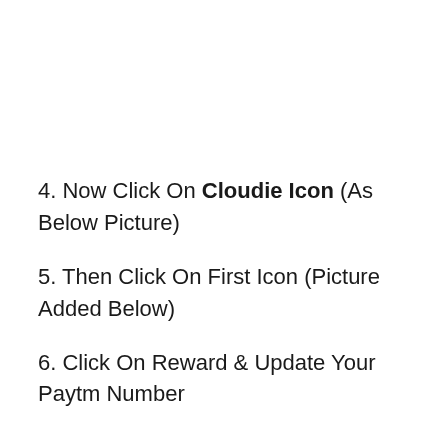4. Now Click On Cloudie Icon (As Below Picture)
5. Then Click On First Icon (Picture Added Below)
6. Click On Reward & Update Your Paytm Number